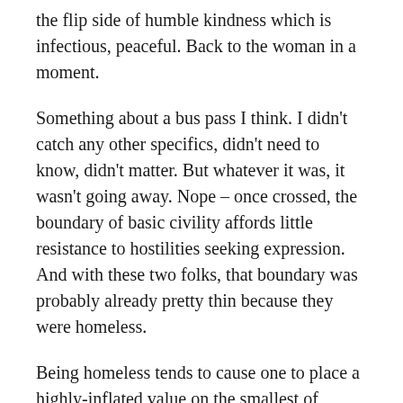the flip side of humble kindness which is infectious, peaceful. Back to the woman in a moment.
Something about a bus pass I think. I didn't catch any other specifics, didn't need to know, didn't matter. But whatever it was, it wasn't going away. Nope – once crossed, the boundary of basic civility affords little resistance to hostilities seeking expression. And with these two folks, that boundary was probably already pretty thin because they were homeless.
Being homeless tends to cause one to place a highly-inflated value on the smallest of things. One man carried an electric razor, cord dangling, for what ultimate purpose, hard to say: perhaps a future bartering chip. Not having a dependable and sustainable protection from the elements